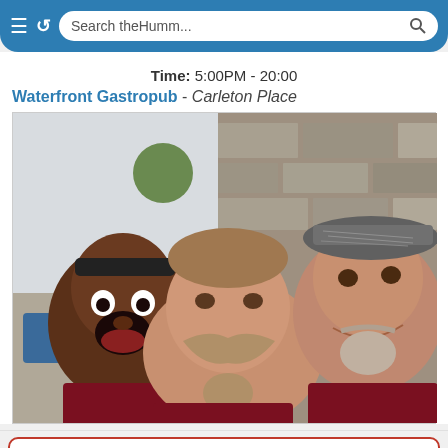Search theHumm...
Time: 5:00PM - 20:00
Waterfront Gastropub - Carleton Place
[Figure (photo): Three middle-aged men smiling and posing together outdoors in front of a stone wall. They are wearing dark red/maroon shirts. The man on the left has his mouth wide open in an exaggerated expression. The man in the middle has a large moustache. The man on the right is wearing a flat cap hat.]
26 Aug 2020  Weavers Unlimited Exhibit & Sale